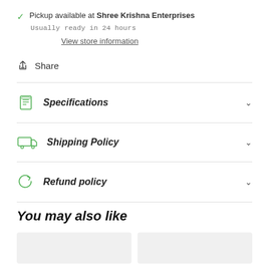✓ Pickup available at Shree Krishna Enterprises
Usually ready in 24 hours
View store information
Share
Specifications
Shipping Policy
Refund policy
You may also like